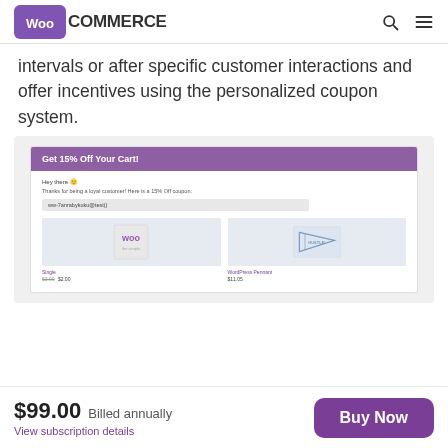WooCommerce
intervals or after specific customer interactions and offer incentives using the personalized coupon system.
[Figure (screenshot): Screenshot of a WooCommerce email showing 'Get 15% Off Your Cart!' with a coupon code and two product thumbnails (Single and WordPress Pennant).]
$99.00 Billed annually. View subscription details. Buy Now